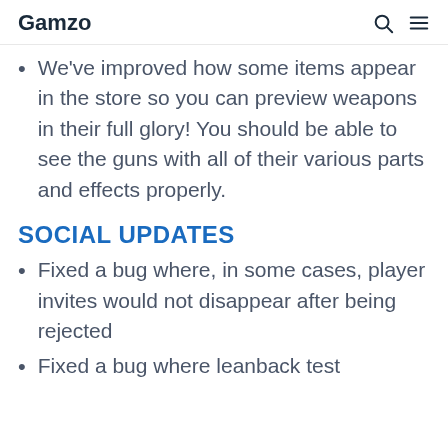Gamzo
We've improved how some items appear in the store so you can preview weapons in their full glory! You should be able to see the guns with all of their various parts and effects properly.
SOCIAL UPDATES
Fixed a bug where, in some cases, player invites would not disappear after being rejected
Fixed a bug where leanback test